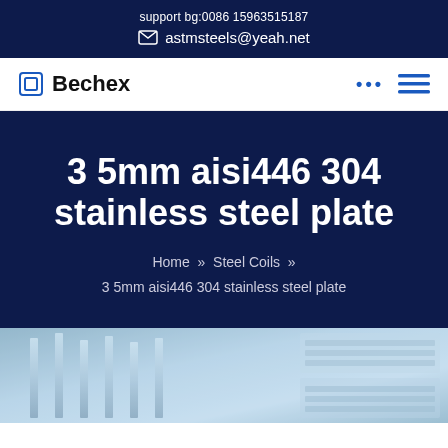support bg:0086 15963515187
astmsteels@yeah.net
Bechex
3 5mm aisi446 304 stainless steel plate
Home » Steel Coils » 3 5mm aisi446 304 stainless steel plate
[Figure (photo): Industrial stainless steel plate or coils in a factory/warehouse setting, blue-tinted photograph]